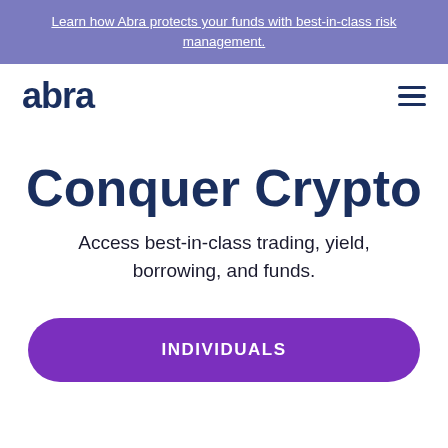Learn how Abra protects your funds with best-in-class risk management.
[Figure (logo): Abra logo in dark navy blue text]
Conquer Crypto
Access best-in-class trading, yield, borrowing, and funds.
INDIVIDUALS